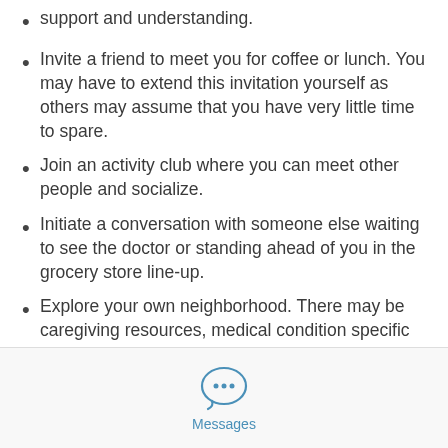support and understanding.
Invite a friend to meet you for coffee or lunch. You may have to extend this invitation yourself as others may assume that you have very little time to spare.
Join an activity club where you can meet other people and socialize.
Initiate a conversation with someone else waiting to see the doctor or standing ahead of you in the grocery store line-up.
Explore your own neighborhood. There may be caregiving resources, medical condition specific organizations, respite offerings,
[Figure (illustration): Chat bubble icon with three dots inside, representing a messaging feature]